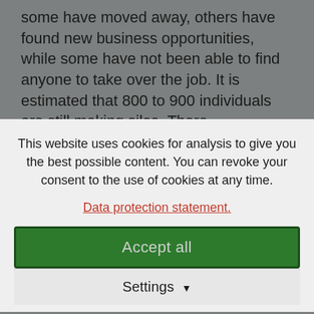some have moved away, others have found new business opportunities, while some have not been able to find anyone to take over the job. It is estimated that 800 to 900 individuals are still making silos. There
This website uses cookies for analysis to give you the best possible content. You can revoke your consent to the use of cookies at any time.
Data protection statement.
Accept all
Settings
situation has improved in the past five years thanks to the fabrication of silos. They have more food and more cash income, while the children's education benefits and conditions in the home have improved.